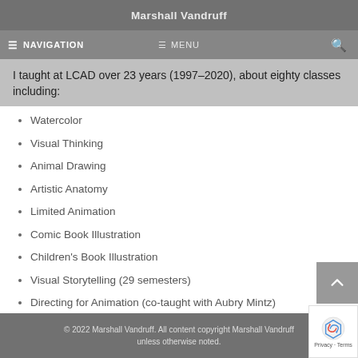Marshall Vandruff
≡ NAVIGATION   ≡ MENU   🔍
I taught at LCAD over 23 years (1997–2020), about eighty classes including:
Watercolor
Visual Thinking
Animal Drawing
Artistic Anatomy
Limited Animation
Comic Book Illustration
Children's Book Illustration
Visual Storytelling (29 semesters)
Directing for Animation (co-taught with Aubry Mintz)
© 2022 Marshall Vandruff. All content copyright Marshall Vandruff unless otherwise noted.